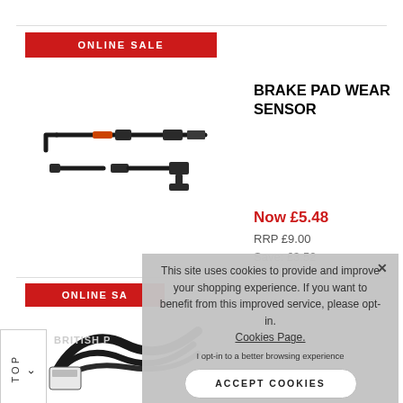[Figure (screenshot): E-commerce product listing page showing Brake Pad Wear Sensor with ONLINE SALE badge, product image of brake sensors, price Now £5.48, RRP £9.00, Save: £3.52, and a second product row below, overlaid with a cookie consent popup saying 'This site uses cookies to provide and improve your shopping experience. If you want to benefit from this improved service, please opt-in. Cookies Page.' with 'I opt-in to a better browsing experience' link and ACCEPT COOKIES button, plus a TOP navigation button on left side.]